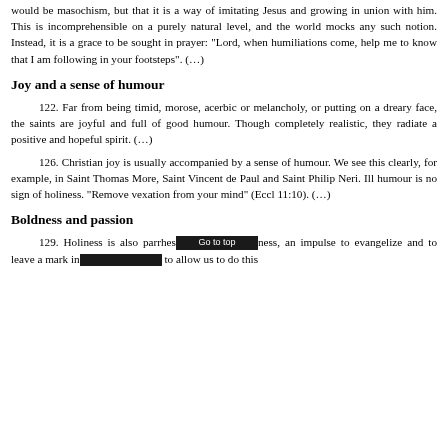would be masochism, but that it is a way of imitating Jesus and growing in union with him. This is incomprehensible on a purely natural level, and the world mocks any such notion. Instead, it is a grace to be sought in prayer: "Lord, when humiliations come, help me to know that I am following in your footsteps". (…)
Joy and a sense of humour
122. Far from being timid, morose, acerbic or melancholy, or putting on a dreary face, the saints are joyful and full of good humour. Though completely realistic, they radiate a positive and hopeful spirit. (…)
126. Christian joy is usually accompanied by a sense of humour. We see this clearly, for example, in Saint Thomas More, Saint Vincent de Paul and Saint Philip Neri. Ill humour is no sign of holiness. "Remove vexation from your mind" (Eccl 11:10). (…)
Boldness and passion
129. Holiness is also parrhes[ia], an impulse to evangelize and to leave a mark in [the world. To allow us to do this